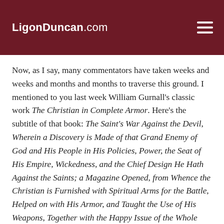LigonDuncan.com
Now, as I say, many commentators have taken weeks and weeks and months and months to traverse this ground. I mentioned to you last week William Gurnall's classic work The Christian in Complete Armor. Here's the subtitle of that book: The Saint's War Against the Devil, Wherein a Discovery is Made of that Grand Enemy of God and His People in His Policies, Power, the Seat of His Empire, Wickedness, and the Chief Design He Hath Against the Saints; a Magazine Opened, from Whence the Christian is Furnished with Spiritual Arms for the Battle, Helped on with His Armor, and Taught the Use of His Weapons, Together with the Happy Issue of the Whole War.